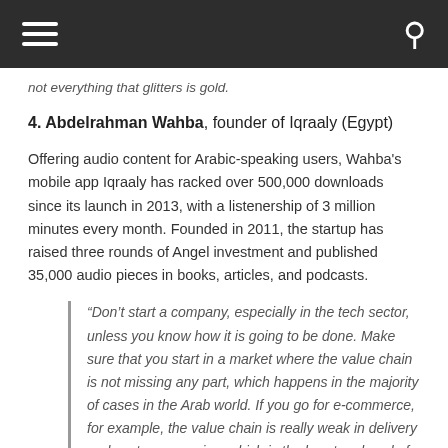not everything that glitters is gold.
4. Abdelrahman Wahba, founder of Iqraaly (Egypt)
Offering audio content for Arabic-speaking users, Wahba's mobile app Iqraaly has racked over 500,000 downloads since its launch in 2013, with a listenership of 3 million minutes every month. Founded in 2011, the startup has raised three rounds of Angel investment and published 35,000 audio pieces in books, articles, and podcasts.
“Don’t start a company, especially in the tech sector, unless you know how it is going to be done. Make sure that you start in a market where the value chain is not missing any part, which happens in the majority of cases in the Arab world. If you go for e-commerce, for example, the value chain is really weak in delivery and customer service, which is the heart and soul of e-commerce; whereas if you start a hardware company, it’s interesting because you would have to manufacture in China, so